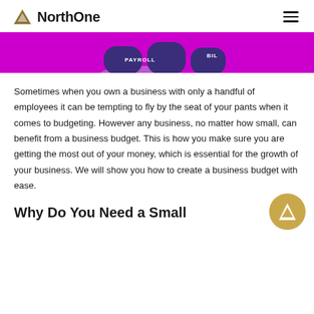NorthOne
[Figure (illustration): Partial view of a NorthOne app illustration with a purple/magenta background showing a piggy bank or wallet graphic with labels 'PAYROLL' and 'BILL' visible]
Sometimes when you own a business with only a handful of employees it can be tempting to fly by the seat of your pants when it comes to budgeting. However any business, no matter how small, can benefit from a business budget. This is how you make sure you are getting the most out of your money, which is essential for the growth of your business. We will show you how to create a business budget with ease.
Why Do You Need a Small